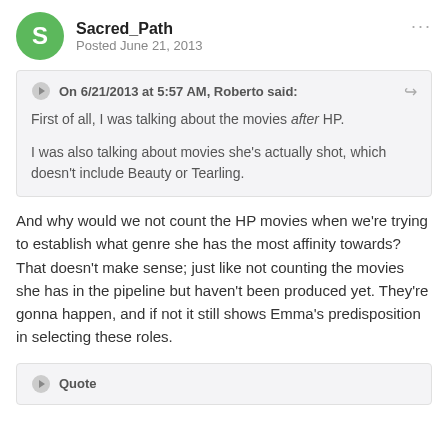Sacred_Path
Posted June 21, 2013
On 6/21/2013 at 5:57 AM, Roberto said:

First of all, I was talking about the movies after HP.

I was also talking about movies she's actually shot, which doesn't include Beauty or Tearling.
And why would we not count the HP movies when we're trying to establish what genre she has the most affinity towards? That doesn't make sense; just like not counting the movies she has in the pipeline but haven't been produced yet. They're gonna happen, and if not it still shows Emma's predisposition in selecting these roles.
Quote